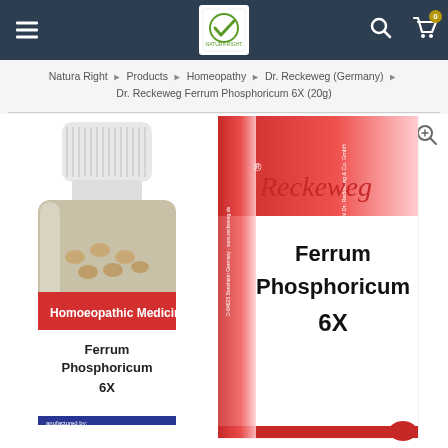Natura Right navigation bar with logo, search and cart
Natura Right > Products > Homeopathy > Dr. Reckeweg (Germany) > Dr. Reckeweg Ferrum Phosphoricum 6X (20g)
[Figure (photo): Product photo showing Dr. Reckeweg Ferrum Phosphoricum 6X homoeopathic medicine bottle (20g) next to its red and white box packaging. The bottle label shows 'Homoeopathic Medicine', 'Ferrum Phosphoricum 6X', 'Manufactured by: Dr. Reckeweg & Co. GmbH'. The box shows 'Ferrum Phosphoricum 6X' and the Reckeweg logo.]